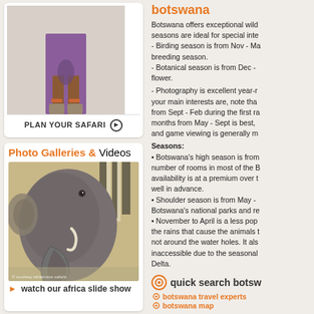[Figure (photo): Photo of person in purple dress and sandals - plan your safari image with circular arrow button]
PLAN YOUR SAFARI ⊕
Photo Galleries & Videos
[Figure (photo): Close-up photo of elephant trunk with zebra in background, courtesy wilderness safaris]
▶ watch our africa slide show
botswana
Botswana offers exceptional wild... seasons are ideal for special inte... - Birding season is from Nov - Ma... breeding season. - Botanical season is from Dec -... flower.
- Photography is excellent year-r... your main interests are, note tha... from Sept - Feb during the first ra... months from May - Sept is best, ... and game viewing is generally m...
Seasons: • Botswana's high season is from... number of rooms in most of the B... availability is at a premium over t... well in advance. • Shoulder season is from May - ... Botswana's national parks and re... • November to April is a less pop... the rains that cause the animals t... not around the water holes. It als... inaccessible due to the seasonal... Delta.
quick search botsw...
botswana travel experts
botswana map